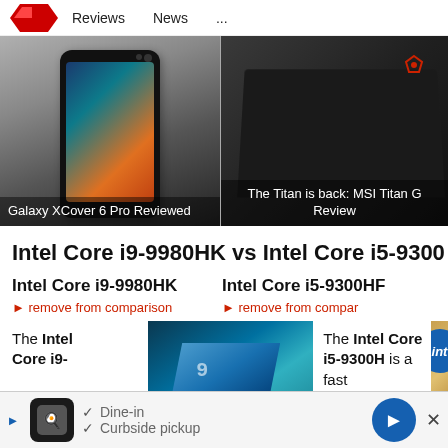Reviews   News   ...
[Figure (screenshot): Galaxy XCover 6 Pro smartphone product image with colorful display screen]
Galaxy XCover 6 Pro Reviewed
[Figure (screenshot): MSI Titan laptop product image showing closed black laptop with red MSI logo]
The Titan is back: MSI Titan G Review
Intel Core i9-9980HK vs Intel Core i5-9300
Intel Core i9-9980HK
remove from comparison
Intel Core i5-9300HF
remove from comparison
The Intel Core i9-
[Figure (photo): Intel CPU chip close-up with blue teal circuit board background]
The Intel Core i5-9300H is a fast
[Figure (logo): Intel logo on golden/copper background]